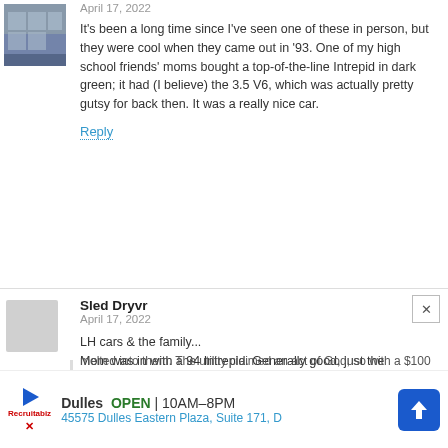[Figure (photo): User avatar photo showing a building exterior]
April 17, 2022
It's been a long time since I've seen one of these in person, but they were cool when they came out in '93. One of my high school friends' moms bought a top-of-the-line Intrepid in dark green; it had (I believe) the 3.5 V6, which was actually pretty gutsy for back then. It was a really nice car.
Reply
Sled Dryvr
April 17, 2022
LH cars & the family...
Mom was in with a 94 Intrepid. Generally good, just the outside world was not good to it.
She liked the bench seat, as most were the buckets & console. She also wanted it in emerald green. Order wet in and she waited. After 8 weeks, she was told that bench seat options were built at the Delaware plant and was on hold. Phoned a neighbors uncle who worked at Auburn Hills with a VON, asked what was holding things up, it was the seat color, but he could fix that. Moved the order to the Canada plant, car arrived 2 weeks later.
Parked at work one day, under a utility pole, a transformer connection let go, spraying the car with a copper shower. Body panels did OK, but every glass panel had copper melted into them. The utility claimed an act of God, so with a $100 deductible &...
Dulles  OPEN  10AM–8PM
45575 Dulles Eastern Plaza, Suite 171, D